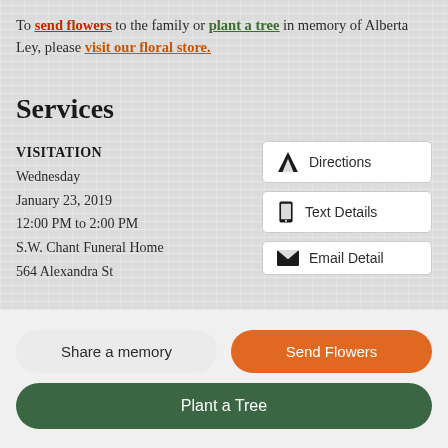To send flowers to the family or plant a tree in memory of Alberta Ley, please visit our floral store.
Services
VISITATION
Wednesday
January 23, 2019
12:00 PM to 2:00 PM
S.W. Chant Funeral Home
564 Alexandra St
Directions
Text Details
Email Detail
Share a memory
Send Flowers
Plant a Tree